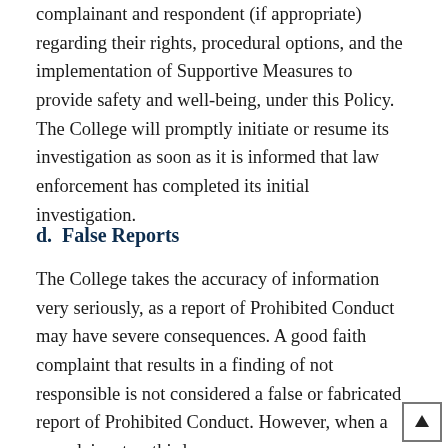College will nevertheless communicate with the complainant and respondent (if appropriate) regarding their rights, procedural options, and the implementation of Supportive Measures to provide safety and well-being, under this Policy. The College will promptly initiate or resume its investigation as soon as it is informed that law enforcement has completed its initial investigation.
d.  False Reports
The College takes the accuracy of information very seriously, as a report of Prohibited Conduct may have severe consequences. A good faith complaint that results in a finding of not responsible is not considered a false or fabricated report of Prohibited Conduct. However, when a complainant or third party